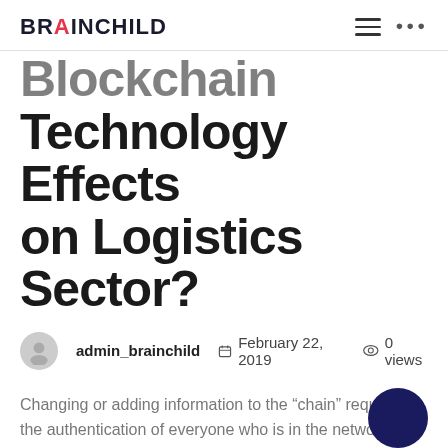BRAINCHILD
Blockchain Technology Effects on Logistics Sector?
admin_brainchild   February 22, 2019   0 views
Changing or adding information to the “chain” requires the authentication of everyone who is in the network. …
Read more